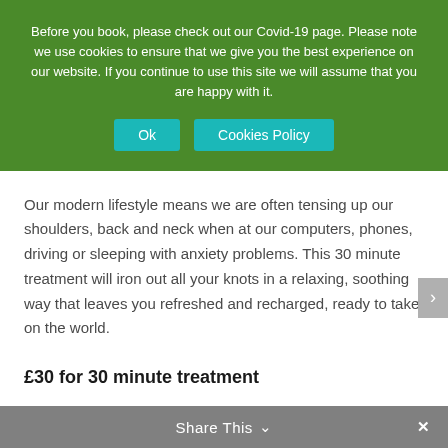Before you book, please check out our Covid-19 page. Please note we use cookies to ensure that we give you the best experience on our website. If you continue to use this site we will assume that you are happy with it.
Ok | Cookies Policy
Our modern lifestyle means we are often tensing up our shoulders, back and neck when at our computers, phones, driving or sleeping with anxiety problems. This 30 minute treatment will iron out all your knots in a relaxing, soothing way that leaves you refreshed and recharged, ready to take on the world.
£30 for 30 minute treatment
Share This ∨  ✕